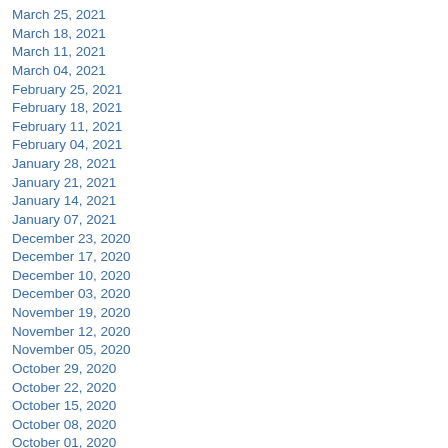March 25, 2021
March 18, 2021
March 11, 2021
March 04, 2021
February 25, 2021
February 18, 2021
February 11, 2021
February 04, 2021
January 28, 2021
January 21, 2021
January 14, 2021
January 07, 2021
December 23, 2020
December 17, 2020
December 10, 2020
December 03, 2020
November 19, 2020
November 12, 2020
November 05, 2020
October 29, 2020
October 22, 2020
October 15, 2020
October 08, 2020
October 01, 2020